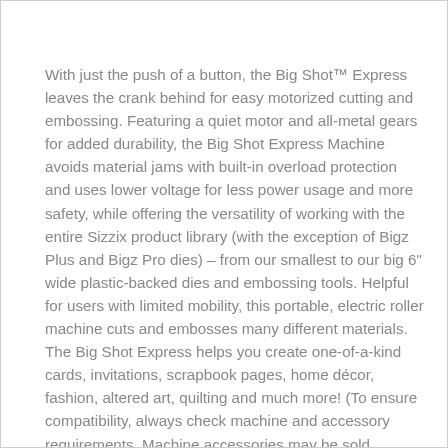With just the push of a button, the Big Shot™ Express leaves the crank behind for easy motorized cutting and embossing. Featuring a quiet motor and all-metal gears for added durability, the Big Shot Express Machine avoids material jams with built-in overload protection and uses lower voltage for less power usage and more safety, while offering the versatility of working with the entire Sizzix product library (with the exception of Bigz Plus and Bigz Pro dies) – from our smallest to our big 6" wide plastic-backed dies and embossing tools. Helpful for users with limited mobility, this portable, electric roller machine cuts and embosses many different materials. The Big Shot Express helps you create one-of-a-kind cards, invitations, scrapbook pages, home décor, fashion, altered art, quilting and much more! (To ensure compatibility, always check machine and accessory requirements. Machine accessories may be sold